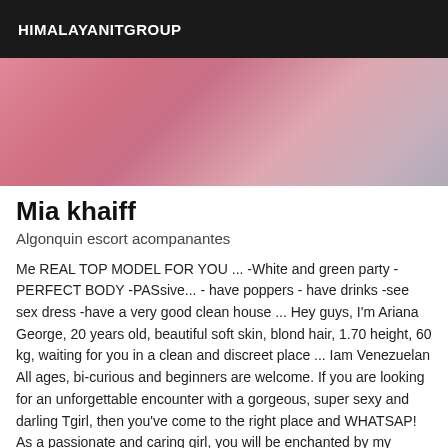HIMALAYANITGROUP
[Figure (photo): Cropped photo showing pink/rose-toned background, partial view of a person in pink clothing]
Mia khaiff
Algonquin escort acompanantes
Me REAL TOP MODEL FOR YOU ... -White and green party -PERFECT BODY -PASsive... - have poppers - have drinks -see sex dress -have a very good clean house ... Hey guys, I'm Ariana George, 20 years old, beautiful soft skin, blond hair, 1.70 height, 60 kg, waiting for you in a clean and discreet place ... Iam Venezuelan All ages, bi-curious and beginners are welcome. If you are looking for an unforgettable encounter with a gorgeous, super sexy and darling Tgirl, then you've come to the right place and WHATSAP! As a passionate and caring girl, you will be enchanted by my sensual